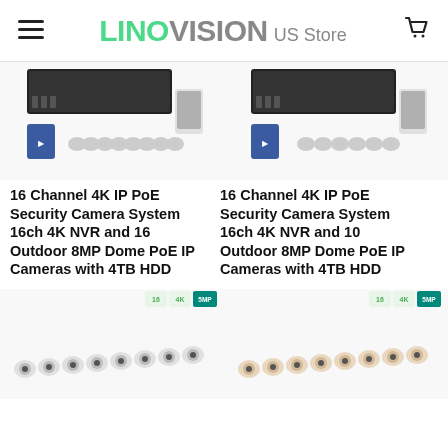LINOVISION US Store
[Figure (photo): Product image: 16 Channel 4K IP PoE Security Camera System with dome cameras and NVR - left product]
16 Channel 4K IP PoE Security Camera System 16ch 4K NVR and 16 Outdoor 8MP Dome PoE IP Cameras with 4TB HDD
[Figure (photo): Product image: 16 Channel 4K IP PoE Security Camera System with dome cameras and NVR - right product]
16 Channel 4K IP PoE Security Camera System 16ch 4K NVR and 10 Outdoor 8MP Dome PoE IP Cameras with 4TB HDD
[Figure (photo): Bottom left product image: security camera system with bullet cameras]
[Figure (photo): Bottom right product image: security camera system with dome cameras]